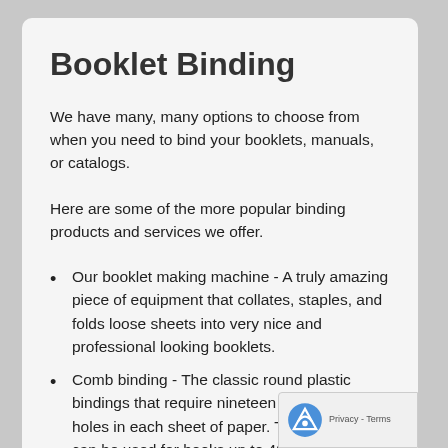Booklet Binding
We have many, many options to choose from when you need to bind your booklets, manuals, or catalogs.
Here are some of the more popular binding products and services we offer.
Our booklet making machine - A truly amazing piece of equipment that collates, staples, and folds loose sheets into very nice and professional looking booklets.
Comb binding - The classic round plastic bindings that require nineteen little square holes in each sheet of paper. This process can be used for books up to 400 pages. Pages can be added or removed easily. And the finished book lies flat when opened.
Tape bindings - Known for its strength and durability, tape bindings is frequently the choice of librarians and